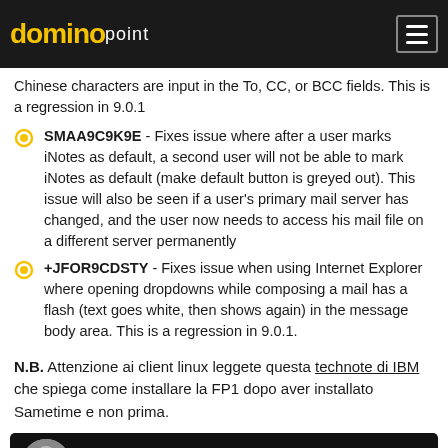dominopoint
Chinese characters are input in the To, CC, or BCC fields. This is a regression in 9.0.1
SMAA9C9K9E - Fixes issue where after a user marks iNotes as default, a second user will not be able to mark iNotes as default (make default button is greyed out). This issue will also be seen if a user's primary mail server has changed, and the user now needs to access his mail file on a different server permanently
+JFOR9CDSTY - Fixes issue when using Internet Explorer where opening dropdowns while composing a mail has a flash (text goes white, then shows again) in the message body area. This is a regression in 9.0.1.
N.B. Attenzione ai client linux leggete questa technote di IBM che spiega come installare la FP1 dopo aver installato Sametime e non prima.
[Figure (photo): Video card thumbnail with person avatar at bottom of page]